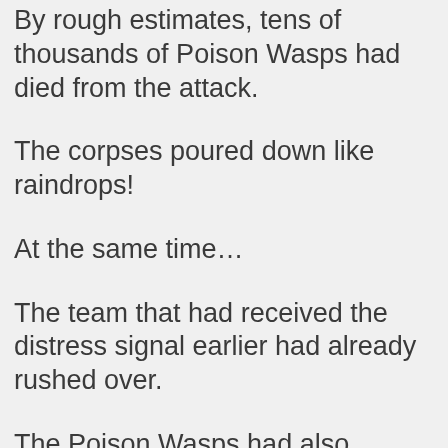By rough estimates, tens of thousands of Poison Wasps had died from the attack.
The corpses poured down like raindrops!
At the same time…
The team that had received the distress signal earlier had already rushed over.
The Poison Wasps had also detected the arrival of the uninvited guests.
Some of the Poison Wasps that were originally surrounding the main battlefield to attack the